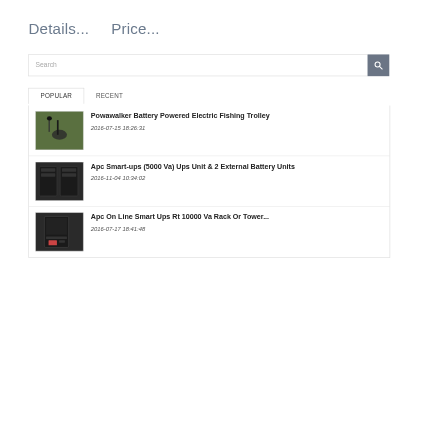Details...    Price...
Search
POPULAR    RECENT
Powawalker Battery Powered Electric Fishing Trolley
2016-07-15 18:26:31
Apc Smart-ups (5000 Va) Ups Unit & 2 External Battery Units
2016-11-04 10:34:02
Apc On Line Smart Ups Rt 10000 Va Rack Or Tower...
2016-07-17 18:41:48